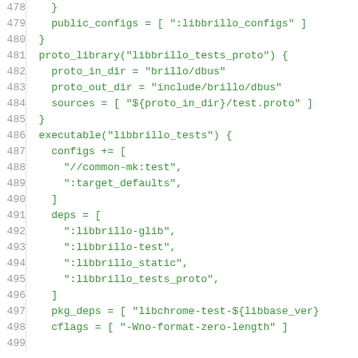Code listing lines 478-499, showing build configuration in GN/ninja format for libbrillo tests proto library and executable target definitions.